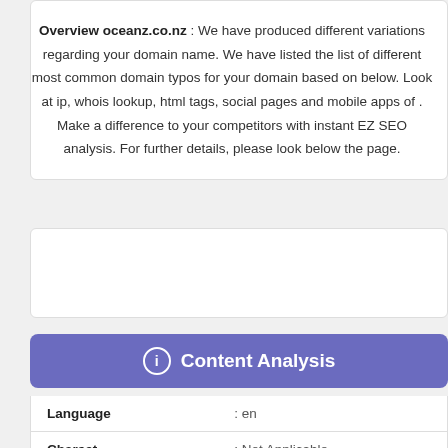Overview oceanz.co.nz : We have produced different variations regarding your domain name. We have listed the list of different most common domain typos for your domain based on below. Look at ip, whois lookup, html tags, social pages and mobile apps of . Make a difference to your competitors with instant EZ SEO analysis. For further details, please look below the page.
[Figure (other): Empty white card/advertisement placeholder area]
Content Analysis
| Language | : en |
| Charset | : Not Applicable |